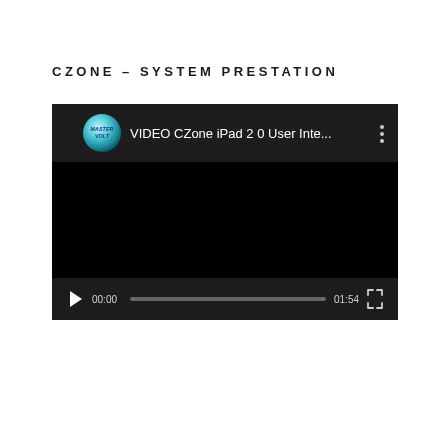CZONE – SYSTEM PRESTATION
[Figure (screenshot): YouTube video player screenshot showing 'VIDEO CZone iPad 2 0 User Inte...' with Mastervolt channel logo, black video frame, play button, progress bar showing 00:00 / 01:54, and fullscreen button]